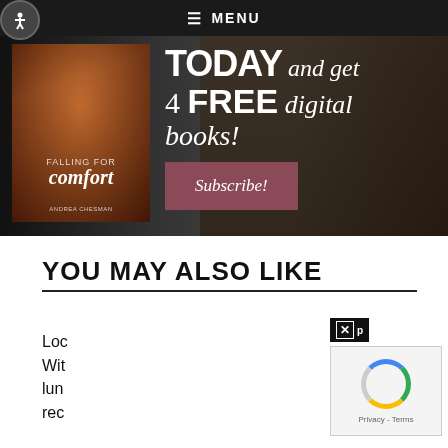☰ MENU
[Figure (screenshot): Website hero banner with food/cookbook imagery. Shows text 'TODAY and get 4 FREE digital books!' with a Subscribe! button on dark background. Book cover reading 'Falling for Comfort' visible on left.]
YOU MAY ALSO LIKE
Loc
Wit
lun
rec
[Figure (screenshot): Close button (X) overlay and reCAPTCHA verification widget with spinning circle and Privacy - Terms text]